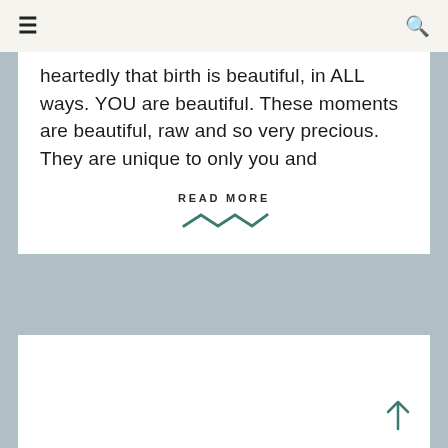≡  🔍
heartedly that birth is beautiful, in ALL ways. YOU are beautiful. These moments are beautiful, raw and so very precious. They are unique to only you and
READ MORE
[Figure (illustration): Decorative zigzag/wave SVG icon in teal/dark green color below READ MORE text]
[Figure (illustration): White card area partially visible at bottom of page with a back-to-top arrow icon in teal color at bottom right]